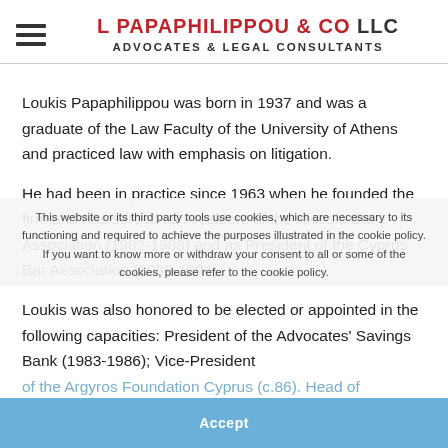L PAPAPHILIPPOU & CO LLC ADVOCATES & LEGAL CONSULTANTS
Loukis Papaphilippou was born in 1937 and was a graduate of the Law Faculty of the University of Athens and practiced law with emphasis on litigation.
He had been in practice since 1963 when he founded the firm and has served as President of the Nicosia Bar Association (1982-1988) and as President of the Cyprus Bar Association (1988-1994).
Loukis was also honored to be elected or appointed in the following capacities: President of the Advocates' Savings Bank (1983-1986); Vice-President of the Argyros Foundation Cyprus (c.86). Head of
This website or its third party tools use cookies, which are necessary to its functioning and required to achieve the purposes illustrated in the cookie policy. If you want to know more or withdraw your consent to all or some of the cookies, please refer to the cookie policy.
Accept